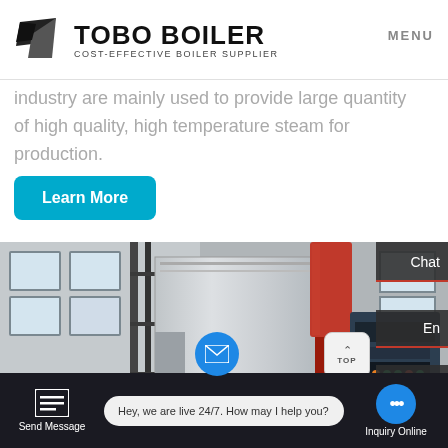[Figure (logo): Tobo Boiler logo with stylized kite/flag icon and text TOBO BOILER COST-EFFECTIVE BOILER SUPPLIER]
MENU
industry are mainly used to provide large quantity of high quality, high temperature steam for production.
Learn More
[Figure (photo): Industrial boiler equipment in a factory setting, showing a large grey boiler body with red chimney, blue burner unit and control panel with indicator lights]
Chat
En
Contact
Send Message
Hey, we are live 24/7. How may I help you?
Inquiry Online